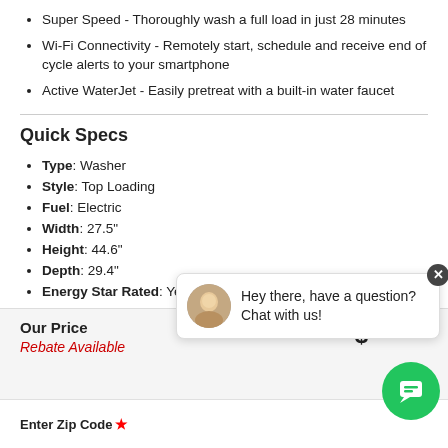Super Speed - Thoroughly wash a full load in just 28 minutes
Wi-Fi Connectivity - Remotely start, schedule and receive end of cycle alerts to your smartphone
Active WaterJet - Easily pretreat with a built-in water faucet
Quick Specs
Type: Washer
Style: Top Loading
Fuel: Electric
Width: 27.5"
Height: 44.6"
Depth: 29.4"
Energy Star Rated: Yes
Laundry Capacity: 5.2 c
WiFi Connected: Yes
See More
Hey there, have a question? Chat with us!
Our Price
Rebate Available
Enter Zip Code